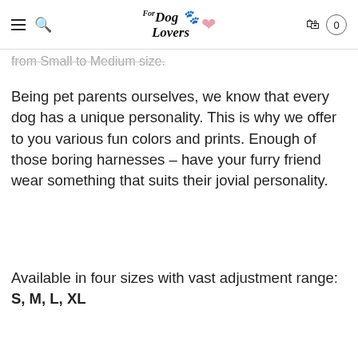For Dog Lovers — navigation header with logo, menu, search, and cart
from Small to Medium size.
Being pet parents ourselves, we know that every dog has a unique personality. This is why we offer to you various fun colors and prints. Enough of those boring harnesses – have your furry friend wear something that suits their jovial personality.
Available in four sizes with vast adjustment range: S, M, L, XL